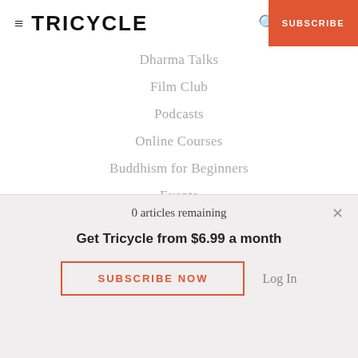TRICYCLE | SUBSCRIBE
Dharma Talks
Film Club
Podcasts
Online Courses
Buddhism for Beginners
Events
E-Books
MORE
About
Customer Support
0 articles remaining
Get Tricycle from $6.99 a month
SUBSCRIBE NOW
Log In